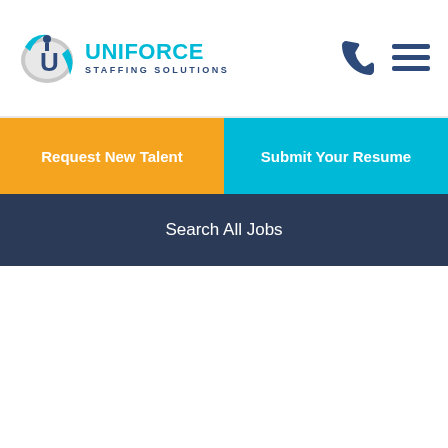[Figure (logo): Uniforce Staffing Solutions logo with circular U icon in blue/cyan and company name text]
Request New Talent
Submit Your Resume
Search All Jobs